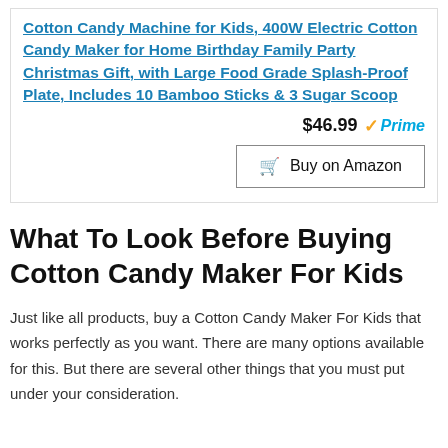Cotton Candy Machine for Kids, 400W Electric Cotton Candy Maker for Home Birthday Family Party Christmas Gift, with Large Food Grade Splash-Proof Plate, Includes 10 Bamboo Sticks & 3 Sugar Scoop
$46.99 ✓Prime
Buy on Amazon
What To Look Before Buying Cotton Candy Maker For Kids
Just like all products, buy a Cotton Candy Maker For Kids that works perfectly as you want. There are many options available for this. But there are several other things that you must put under your consideration.